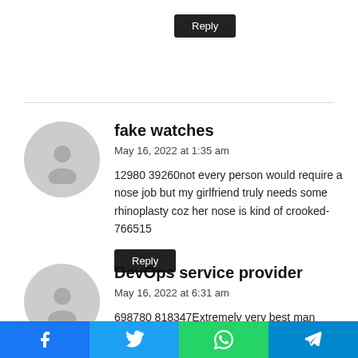Reply
fake watches
May 16, 2022 at 1:35 am
12980 39260not every person would require a nose job but my girlfriend truly needs some rhinoplasty coz her nose is kind of crooked- 766515
Reply
DevOps service provider
May 16, 2022 at 6:31 am
698780 818347Extremely very best man toasts, nicely